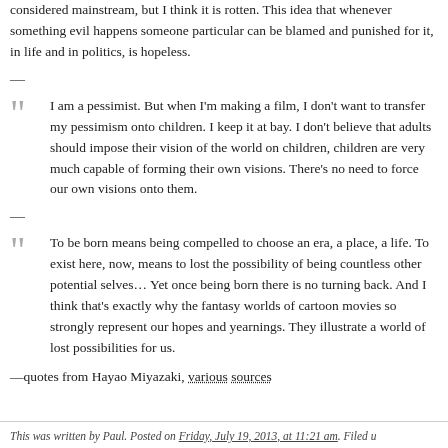considered mainstream, but I think it is rotten. This idea that whenever something evil happens someone particular can be blamed and punished for it, in life and in politics, is hopeless.
—
I am a pessimist. But when I'm making a film, I don't want to transfer my pessimism onto children. I keep it at bay. I don't believe that adults should impose their vision of the world on children, children are very much capable of forming their own visions. There's no need to force our own visions onto them.
—
To be born means being compelled to choose an era, a place, a life. To exist here, now, means to lost the possibility of being countless other potential selves… Yet once being born there is no turning back. And I think that's exactly why the fantasy worlds of cartoon movies so strongly represent our hopes and yearnings. They illustrate a world of lost possibilities for us.
—quotes from Hayao Miyazaki, various sources
This was written by Paul. Posted on Friday, July 19, 2013, at 11:21 am. Filed u